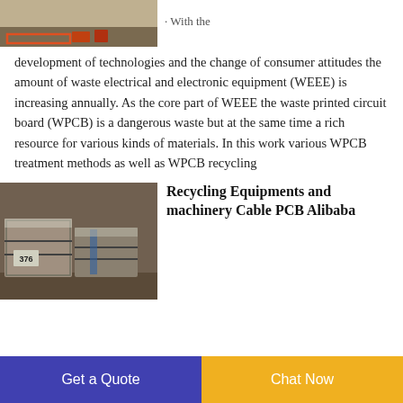[Figure (photo): Photo of industrial equipment/machinery with red frame visible at bottom, partial view from top of page]
· With the development of technologies and the change of consumer attitudes the amount of waste electrical and electronic equipment (WEEE) is increasing annually. As the core part of WEEE the waste printed circuit board (WPCB) is a dangerous waste but at the same time a rich resource for various kinds of materials. In this work various WPCB treatment methods as well as WPCB recycling
[Figure (photo): Photo of baled/bundled recycled scrap materials, labeled '376', stacked outdoors]
Recycling Equipments and machinery Cable PCB Alibaba
Get a Quote
Chat Now